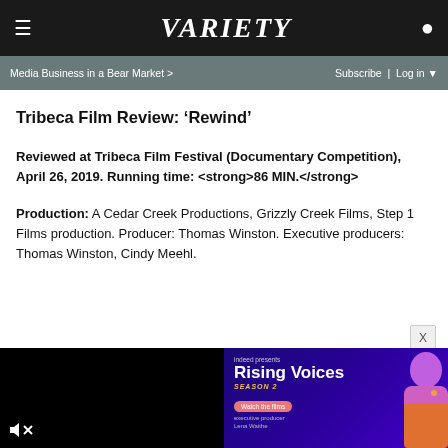VARIETY
Media Business in a Bear Market > | Subscribe | Log in
Tribeca Film Review: ‘Rewind’
Reviewed at Tribeca Film Festival (Documentary Competition), April 26, 2019. Running time: <strong>86 MIN.</strong>
Production: A Cedar Creek Productions, Grizzly Creek Films, Step 1 Films production. Producer: Thomas Winston. Executive producers: Thomas Winston, Cindy Meehl.
[Figure (screenshot): Black video player panel with mute icon]
[Figure (photo): Indeed presents Rising Voices Season 2 advertisement with a photo of Lena Waithe, Watch the films button, and executive producer Lena Waithe text]